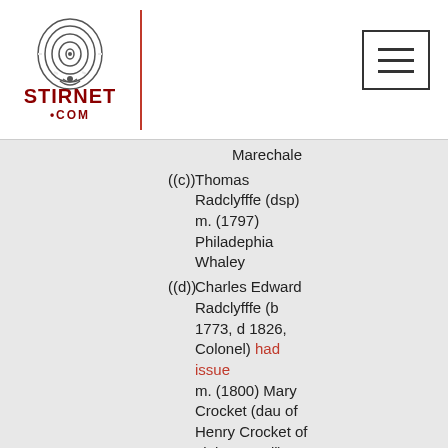[Figure (logo): Stirnet.com logo with fingerprint graphic and red text]
Marechale
((c)) Thomas Radclyfffe (dsp) m. (1797) Philadephia Whaley
((d)) Charles Edward Radclyfffe (b 1773, d 1826, Colonel) had issue m. (1800) Mary Crocket (dau of Henry Crocket of Littleton Hall)
((e)) Elizabeth Radclyfffe m. John Salway of Richards Castle